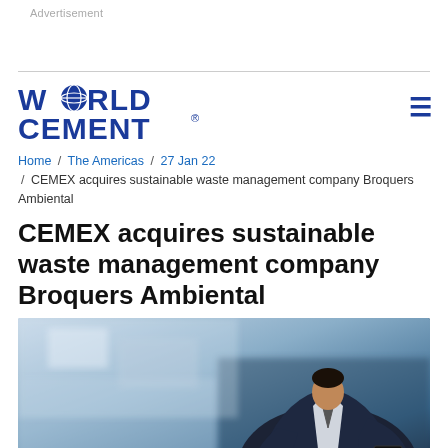Advertisement
[Figure (logo): World Cement logo in bold blue letters with globe graphic replacing the 'O' in WORLD]
Home / The Americas / 27 Jan 22 / CEMEX acquires sustainable waste management company Broquers Ambiental
CEMEX acquires sustainable waste management company Broquers Ambiental
[Figure (photo): A businessman in a dark suit holding a smartphone, blurred office background]